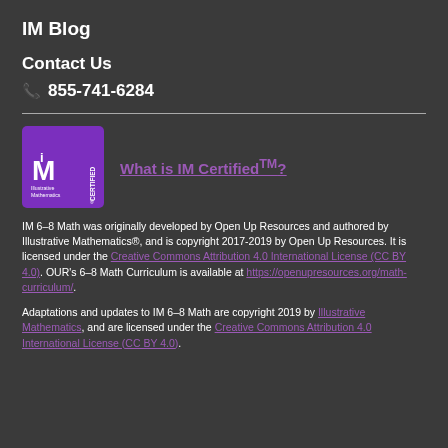IM Blog
Contact Us
855-741-6284
[Figure (logo): IM Certified badge with Illustrative Mathematics logo — purple square badge with 'iM' mark and 'CERTIFIED' text on side]
What is IM Certified™?
IM 6–8 Math was originally developed by Open Up Resources and authored by Illustrative Mathematics®, and is copyright 2017-2019 by Open Up Resources. It is licensed under the Creative Commons Attribution 4.0 International License (CC BY 4.0). OUR's 6–8 Math Curriculum is available at https://openupresources.org/math-curriculum/.
Adaptations and updates to IM 6–8 Math are copyright 2019 by Illustrative Mathematics, and are licensed under the Creative Commons Attribution 4.0 International License (CC BY 4.0).